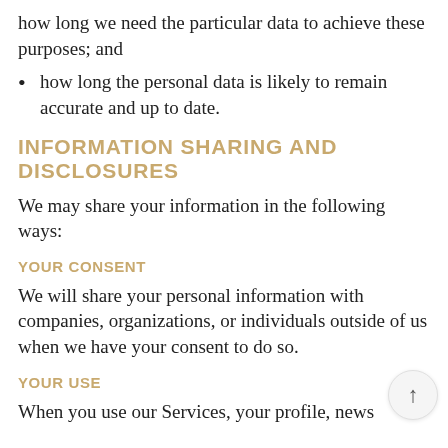how long we need the particular data to achieve these purposes; and
how long the personal data is likely to remain accurate and up to date.
INFORMATION SHARING AND DISCLOSURES
We may share your information in the following ways:
YOUR CONSENT
We will share your personal information with companies, organizations, or individuals outside of us when we have your consent to do so.
YOUR USE
When you use our Services, your profile, news